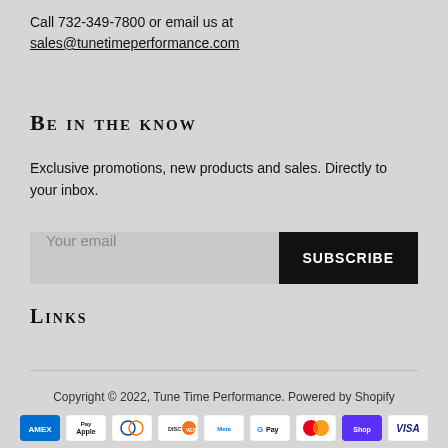Call 732-349-7800 or email us at sales@tunetimeperformance.com
Be in the know
Exclusive promotions, new products and sales. Directly to your inbox.
Your email  SUBSCRIBE
Links
Copyright © 2022, Tune Time Performance. Powered by Shopify
[Figure (other): Payment method icons: Amex, Apple Pay, Diners Club, Discover, Meta Pay, Google Pay, Mastercard, Shop Pay, Visa]